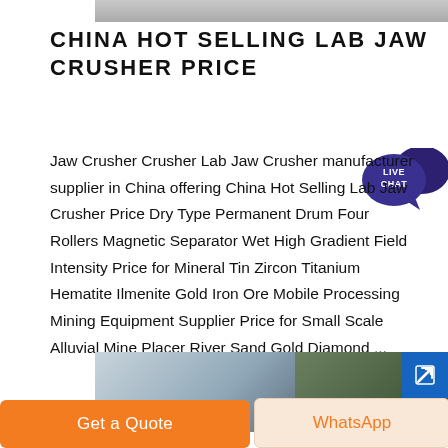[Figure (photo): Top partial image of a surface, likely a jaw crusher or industrial equipment, gray colored]
CHINA HOT SELLING LAB JAW CRUSHER PRICE
[Figure (other): Live Chat bubble icon — dark navy speech bubble with text LIVE CHAT in white]
Jaw Crusher Crusher Lab Jaw Crusher manufacturer supplier in China offering China Hot Selling Lab Jaw Crusher Price Dry Type Permanent Drum Four Rollers Magnetic Separator Wet High Gradient Field Intensity Price for Mineral Tin Zircon Titanium Hematite Ilmenite Gold Iron Ore Mobile Processing Mining Equipment Supplier Price for Small Scale Alluvial Mine Placer River Sand Gold Diamond ...
[Figure (photo): Bottom partial image showing industrial mining equipment on the left and a hillside/trees on the right]
[Figure (other): Blue arrow button / external link icon]
Get a Quote
WhatsApp